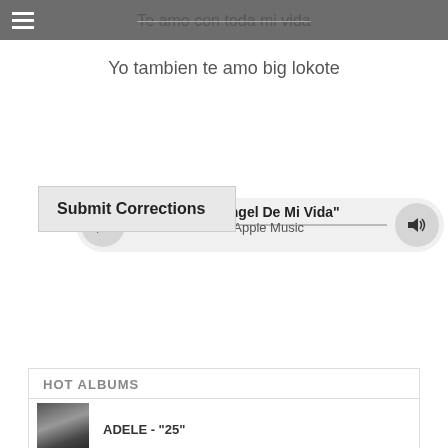Te amo con toda mi vida
Yo tambien te amo big lokote
[Figure (other): Apple Music player bar with play button, progress line, volume button, showing 'Play "Angel De Mi Vida" on Apple Music']
Submit Corrections
HOT ALBUMS
[Figure (photo): Album cover thumbnail showing a face, partially visible, dark tones - ADELE '25']